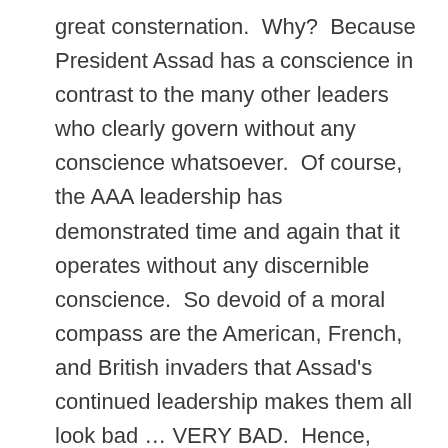great consternation.  Why?  Because President Assad has a conscience in contrast to the many other leaders who clearly govern without any conscience whatsoever.  Of course, the AAA leadership has demonstrated time and again that it operates without any discernible conscience.  So devoid of a moral compass are the American, French, and British invaders that Assad's continued leadership makes them all look bad … VERY BAD.  Hence, their compulsion to demonize him at every turn.